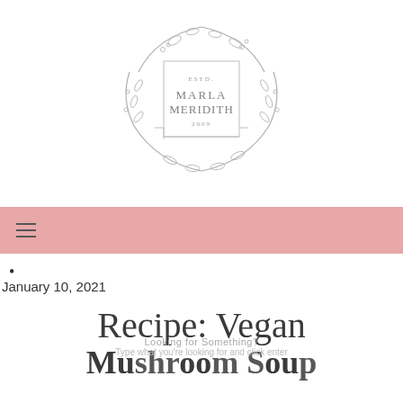[Figure (logo): Marla Meridith logo with floral wreath border, text reads ESTD. MARLA MERIDITH 2009]
≡
•
January 10, 2021
Recipe: Vegan Mushroom Soup
Looking for Something?
Type what you're looking for and click enter